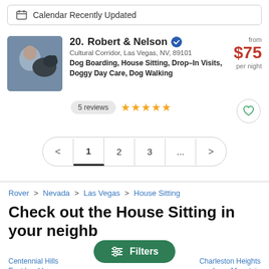Calendar Recently Updated
20. Robert & Nelson
Cultural Corridor, Las Vegas, NV, 89101
Dog Boarding, House Sitting, Drop-In Visits, Doggy Day Care, Dog Walking
5 reviews ★★★★★
from $75 per night
< 1 2 3 ... >
Rover > Nevada > Las Vegas > House Sitting
Check out the House Sitting in your neighborhood
Filters
Centennial Hills
East Las Vegas
Charleston Heights
Lone Mountain